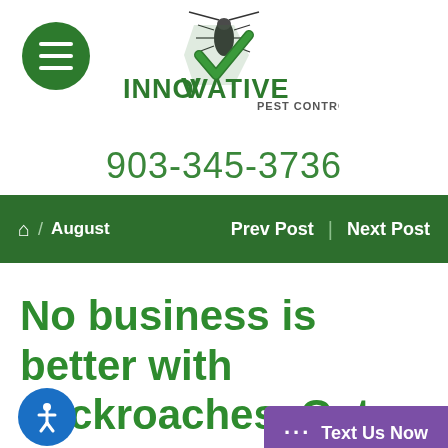[Figure (logo): Innovative Pest Control logo with cockroach and green checkmark, company name INNOVATIVE PEST CONTROL]
903-345-3736
Home / August   Prev Post | Next Post
No business is better with cockroaches. Get cockroach-free, guaranteed with Innovative Pest